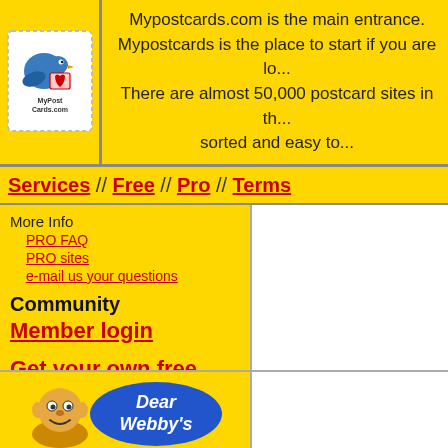[Figure (logo): MyPostCards.com logo with blue bird and postcard stamp design]
Mypostcards.com is the main entrance. Mypostcards is the place to start if you are lo... There are almost 50,000 postcard sites in th... sorted and easy to...
Services // Free // Pro // Terms
More Info
PRO FAQ
PRO sites
e-mail us your questions
Community
Member login
Get your own free postcard site
get help
[Figure (illustration): Dear Webby's character illustration — cartoon figure with blue oval badge reading 'Dear Webby's']